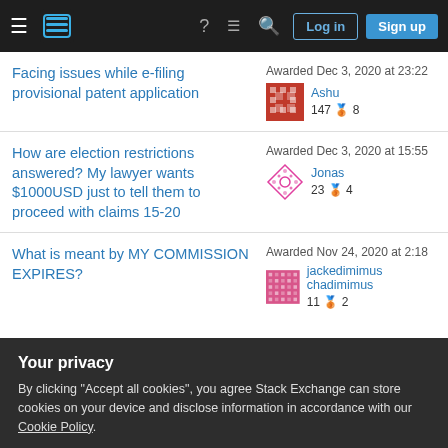Stack Exchange navigation bar with hamburger menu, logo, help, chat, search, Log in, Sign up
Facing issues while e-filing provisional patent application — Awarded Dec 3, 2020 at 23:22 — Ashu 147 🥉8
How are election restrictions answered? My lawyer wants $1000USD just to tell them to proceed with claims 15-20 — Awarded Dec 3, 2020 at 15:55 — Jonas 23 🥉4
What is meant by MY COMMISSION EXPIRES? — Awarded Nov 24, 2020 at 2:18 — jackedimimus chadimimus 11 🥉2
Your privacy
By clicking "Accept all cookies", you agree Stack Exchange can store cookies on your device and disclose information in accordance with our Cookie Policy.
Good patent books for startups and inventors? (partial, cut off)